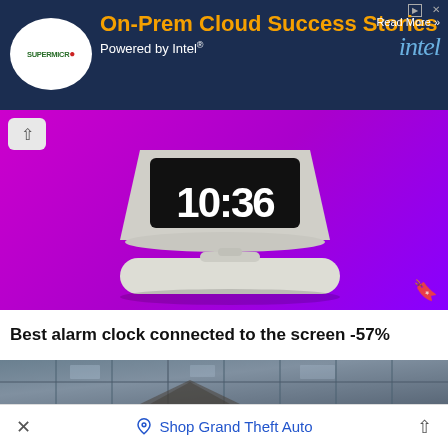[Figure (screenshot): Supermicro / Intel advertisement banner: dark navy background, Supermicro logo on left, orange bold headline 'On-Prem Cloud Success Stories', white subtext 'Powered by Intel®', 'Read More >>' text, Intel logo on right.]
[Figure (photo): Lenovo smart alarm clock device displayed on purple/magenta gradient background. The clock shows '10:36' on its screen. There is a white charging pad/remote in front of it. Up-caret navigation button top-left. Bookmark icon bottom-right.]
Best alarm clock connected to the screen -57%
[Figure (photo): Bottom portion: building facade photo showing glass and stone architecture with reflections. Partially cropped.]
Shop Grand Theft Auto